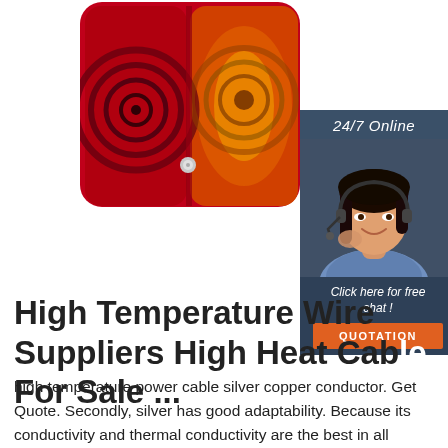[Figure (photo): Close-up of a red and amber vehicle tail light / trailer light lens with concentric circular patterns and a silver screw visible]
[Figure (photo): 24/7 Online customer service sidebar with a smiling woman wearing a headset, a 'Click here for free chat!' message, and an orange QUOTATION button]
High Temperature Wire Suppliers High Heat Cable For Sale ...
high temperature power cable silver copper conductor. Get Quote. Secondly, silver has good adaptability. Because its conductivity and thermal conductivity are the best in all metals. Therefore, silver plating on the copper core of heat resistant